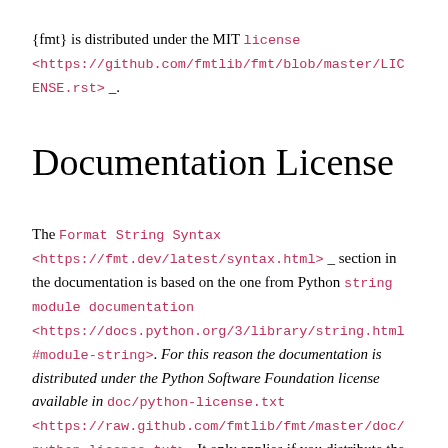{fmt} is distributed under the MIT license <https://github.com/fmtlib/fmt/blob/master/LICENSE.rst> _.
Documentation License
The Format String Syntax <https://fmt.dev/latest/syntax.html> _ section in the documentation is based on the one from Python string module documentation <https://docs.python.org/3/library/string.html#module-string>. For this reason the documentation is distributed under the Python Software Foundation license available in doc/python-license.txt <https://raw.github.com/fmtlib/fmt/master/doc/python-license.txt> . It only applies if you distribute the documentation of {fmt}.